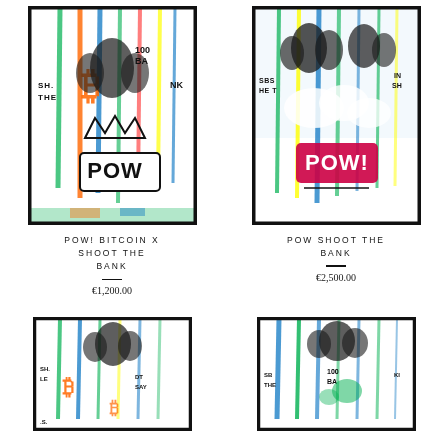[Figure (illustration): POW! Bitcoin X Shoot The Bank artwork - graffiti/street art style painting with colorful drips, bitcoin symbol, POW! text bubble, 'SHOOT THE BANK' text]
POW! BITCOIN X SHOOT THE BANK
€1,200.00
[Figure (illustration): POW Shoot The Bank artwork - graffiti/street art style painting with colorful drips, POW! text bubble in red/pink, 'SHOOT THE BANK' text]
POW SHOOT THE BANK
€2,500.00
[Figure (illustration): Artwork - graffiti/street art style painting with colorful drips, bitcoin symbols, orange and blue paint]
[Figure (illustration): Artwork - graffiti/street art style painting with blue and green paint drips, 'SHOOT THE BANK' text]